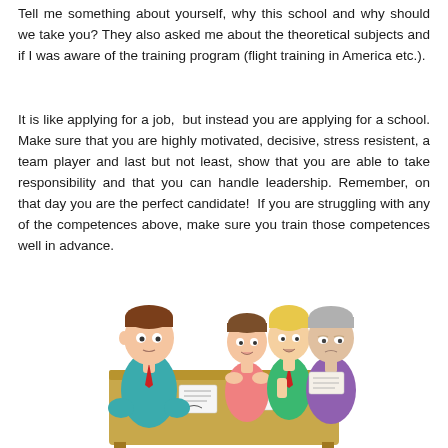Tell me something about yourself, why this school and why should we take you? They also asked me about the theoretical subjects and if I was aware of the training program (flight training in America etc.).
It is like applying for a job,  but instead you are applying for a school. Make sure that you are highly motivated, decisive, stress resistent, a team player and last but not least, show that you are able to take responsibility and that you can handle leadership. Remember, on that day you are the perfect candidate!  If you are struggling with any of the competences above, make sure you train those competences well in advance.
[Figure (illustration): Cartoon illustration of a job/school interview scene: one candidate sitting on the left side of a table facing three interviewers on the right side. The candidate wears a teal shirt and red tie. The interviewers include a person in pink shirt, one in green shirt with red tie, and an older man in purple/blue. Papers are on the table.]